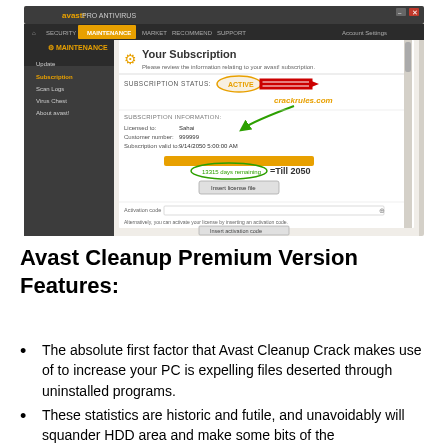[Figure (screenshot): Avast Pro Antivirus application window showing 'Your Subscription' panel with SUBSCRIPTION STATUS: ACTIVE highlighted in an orange oval with a red arrow pointing to it. Text 'crackrules.com' appears in orange. Subscription information shows Licensed to: Sahai, Customer number: 999999, Subscription valid to: 9/14/2050 5:00:00 AM. A gold progress bar with '13315 days remaining' circled in green with annotation '=Till 2050'. An 'Insert license file' button is visible. Below shows Activation code section with 'Insert activation code' button.]
Avast Cleanup Premium Version Features:
The absolute first factor that Avast Cleanup Crack makes use of to increase your PC is expelling files deserted through uninstalled programs.
These statistics are historic and futile, and unavoidably will squander HDD area and make some bits of the